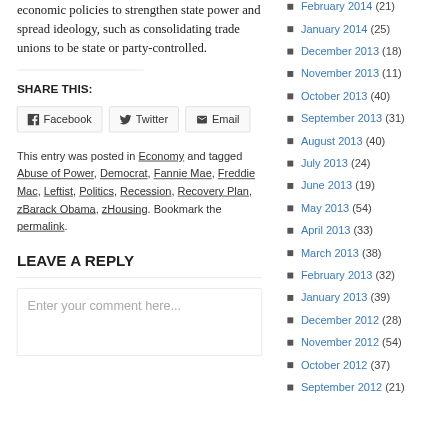economic policies to strengthen state power and spread ideology, such as consolidating trade unions to be state or party-controlled.
SHARE THIS:
[Figure (other): Share buttons: Facebook, Twitter, Email]
This entry was posted in Economy and tagged Abuse of Power, Democrat, Fannie Mae, Freddie Mac, Leftist, Politics, Recession, Recovery Plan, zBarack Obama, zHousing. Bookmark the permalink.
LEAVE A REPLY
Enter your comment here...
February 2014 (21)
January 2014 (25)
December 2013 (18)
November 2013 (11)
October 2013 (40)
September 2013 (31)
August 2013 (40)
July 2013 (24)
June 2013 (19)
May 2013 (54)
April 2013 (33)
March 2013 (38)
February 2013 (32)
January 2013 (39)
December 2012 (28)
November 2012 (54)
October 2012 (37)
September 2012 (21)